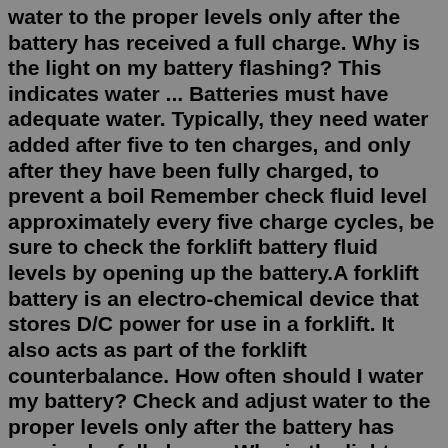water to the proper levels only after the battery has received a full charge. Why is the light on my battery flashing? This indicates water ... Batteries must have adequate water. Typically, they need water added after five to ten charges, and only after they have been fully charged, to prevent a boil Remember check fluid level approximately every five charge cycles, be sure to check the forklift battery fluid levels by opening up the battery.A forklift battery is an electro-chemical device that stores D/C power for use in a forklift. It also acts as part of the forklift counterbalance. How often should I water my battery? Check and adjust water to the proper levels only after the battery has received a full charge. Why is the light on my battery flashing? This indicates water ... A forklift battery is an electro-chemical device that stores D/C power for use in a forklift. It also acts as part of the forklift counterbalance. How often should I water my battery? Check and adjust water to the proper levels only after the battery has